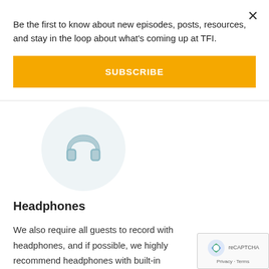Be the first to know about new episodes, posts, resources, and stay in the loop about what's coming up at TFI.
SUBSCRIBE
[Figure (illustration): Circular light blue icon with headphones symbol]
Headphones
We also require all guests to record with headphones, and if possible, we highly recommend headphones with built-in microphones. This allows the highest quality audio to be
[Figure (other): reCAPTCHA widget with Privacy and Terms text]